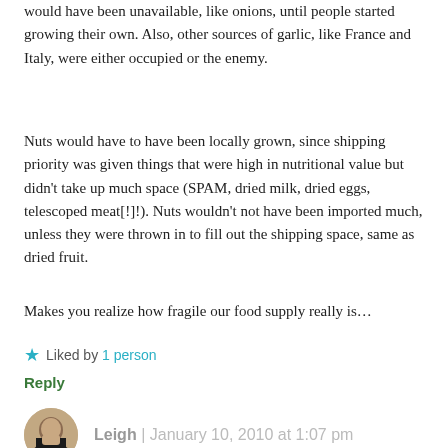would have been unavailable, like onions, until people started growing their own. Also, other sources of garlic, like France and Italy, were either occupied or the enemy.
Nuts would have to have been locally grown, since shipping priority was given things that were high in nutritional value but didn't take up much space (SPAM, dried milk, dried eggs, telescoped meat[!]!). Nuts wouldn't not have been imported much, unless they were thrown in to fill out the shipping space, same as dried fruit.
Makes you realize how fragile our food supply really is…
★ Liked by 1 person
Reply
Leigh | January 10, 2010 at 1:07 pm